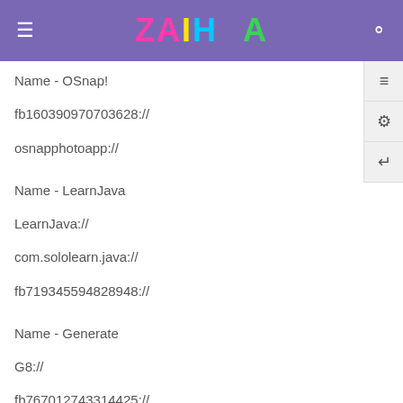ZAIHUA
Name - OSnap!
fb160390970703628://
osnapphotoapp://
Name - LearnJava
LearnJava://
com.sololearn.java://
fb719345594828948://
Name - Generate
G8://
fb767012743314425://
Name - Breedify
apptly.breedify://